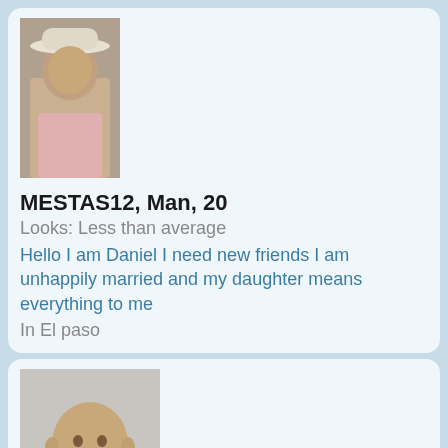[Figure (photo): Profile photo of a man wearing a white cowboy hat and pink shirt]
MESTAS12, Man, 20
Looks: Less than average
Hello I am Daniel I need new friends I am unhappily married and my daughter means everything to me
In El paso
[Figure (photo): Profile photo of a man in a black shirt indoors]
MEU2NITE915, Man, 41
Looks: I can be cute
Do i look like the type of person you would